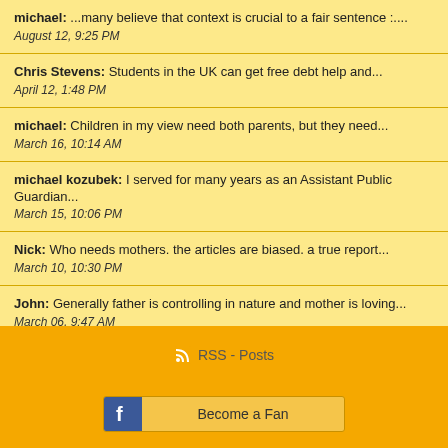michael: ...many believe that context is crucial to a fair sentence :... August 12, 9:25 PM
Chris Stevens: Students in the UK can get free debt help and... April 12, 1:48 PM
michael: Children in my view need both parents, but they need... March 16, 10:14 AM
michael kozubek: I served for many years as an Assistant Public Guardian... March 15, 10:06 PM
Nick: Who needs mothers. the articles are biased. a true report... March 10, 10:30 PM
John: Generally father is controlling in nature and mother is loving... March 06, 9:47 AM
owen: I don't even understand how it can be disputed that... February 19, 2:47 AM
RSS - Posts | Become a Fan